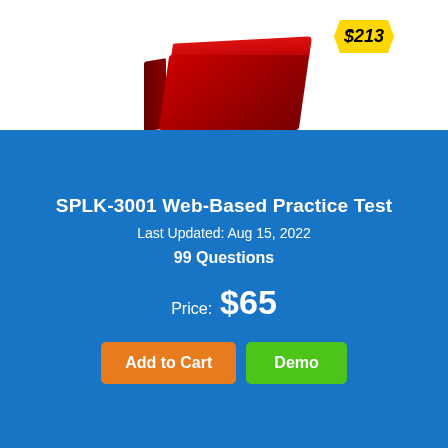[Figure (photo): Red product box (exam preparation bundle) with a yellow price badge showing $213]
SPLK-3001 Web-Based Practice Test
Last Updated: Aug 15, 2022
99 Questions
Price: $65
Add to Cart  Demo